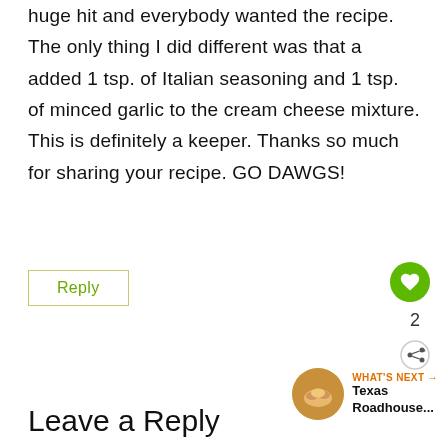huge hit and everybody wanted the recipe. The only thing I did different was that a added 1 tsp. of Italian seasoning and 1 tsp. of minced garlic to the cream cheese mixture. This is definitely a keeper. Thanks so much for sharing your recipe. GO DAWGS!
Reply
2
WHAT'S NEXT → Texas Roadhouse...
Leave a Reply